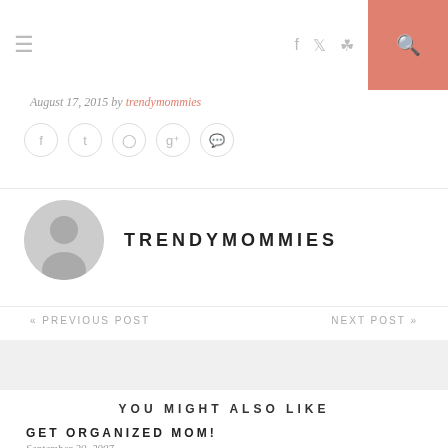≡ [nav icons] [search]
August 17, 2015 by trendymommies
[Figure (infographic): Row of five circular social share icons: facebook, twitter, pinterest, google+, comment]
[Figure (photo): Author avatar: gray circle with default user silhouette icon next to the name TRENDYMOMMIES]
« PREVIOUS POST
NEXT POST »
YOU MIGHT ALSO LIKE
GET ORGANIZED MOM!
September 20, 2007